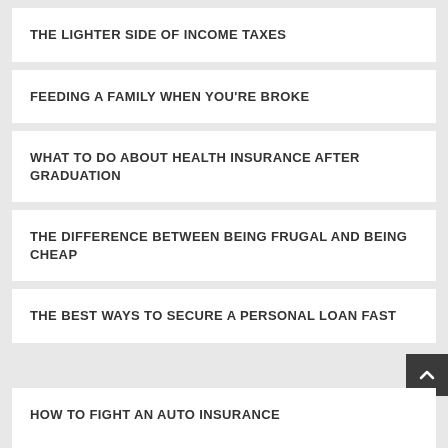THE LIGHTER SIDE OF INCOME TAXES
FEEDING A FAMILY WHEN YOU'RE BROKE
WHAT TO DO ABOUT HEALTH INSURANCE AFTER GRADUATION
THE DIFFERENCE BETWEEN BEING FRUGAL AND BEING CHEAP
THE BEST WAYS TO SECURE A PERSONAL LOAN FAST
HOW TO FIGHT AN AUTO INSURANCE